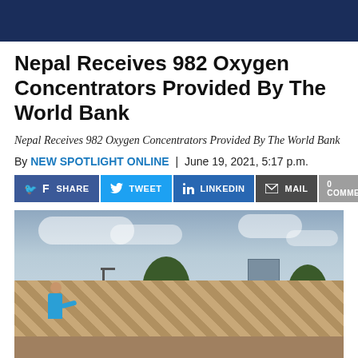Nepal Receives 982 Oxygen Concentrators Provided By The World Bank
Nepal Receives 982 Oxygen Concentrators Provided By The World Bank
By NEW SPOTLIGHT ONLINE | June 19, 2021, 5:17 p.m.
SHARE  TWEET  LINKEDIN  MAIL  0 COMMENTS
[Figure (photo): Outdoor scene showing a person in a blue shirt standing in front of large wrapped pallets/crates of oxygen concentrators, with trees, a streetlight, and a building visible in the background under a cloudy sky.]